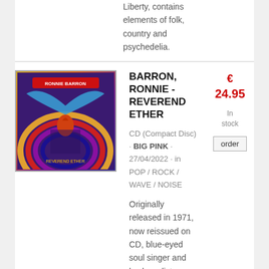Liberty, contains elements of folk, country and psychedelia.
BARRON, RONNIE - REVEREND ETHER
CD (Compact Disc) · BIG PINK · 27/04/2022 · in POP / ROCK / WAVE / NOISE
€ 24.95
In stock
order
Originally released in 1971, now reissued on CD, blue-eyed soul singer and keyboardist Ronnie Barron's debut solo-album 'Reverend Ether' is an appealing